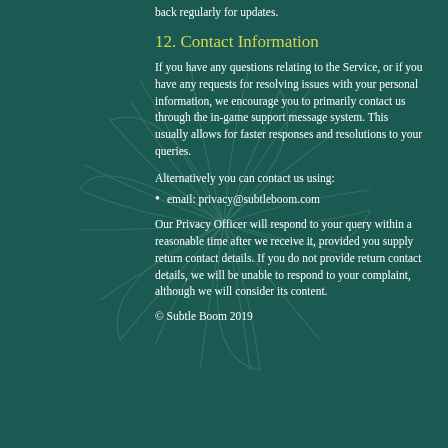back regularly for updates.
12. Contact Information
If you have any questions relating to the Service, or if you have any requests for resolving issues with your personal information, we encourage you to primarily contact us through the in-game support message system. This usually allows for faster responses and resolutions to your queries.
Alternatively you can contact us using:
email: privacy@subtleboom.com
Our Privacy Officer will respond to your query within a reasonable time after we receive it, provided you supply return contact details. If you do not provide return contact details, we will be unable to respond to your complaint, although we will consider its content.
© Subtle Boom 2019